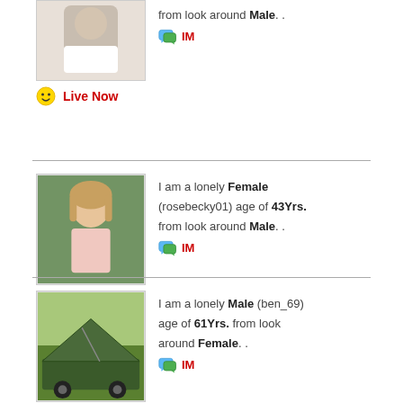from look around Male. .
IM
Live Now
[Figure (photo): Profile photo of a woman]
I am a lonely Female (rosebecky01) age of 43Yrs. from look around Male. .
IM
Live Now
[Figure (photo): Profile photo showing a military tent/truck]
I am a lonely Male (ben_69) age of 61Yrs. from look around Female. .
IM
Live Now